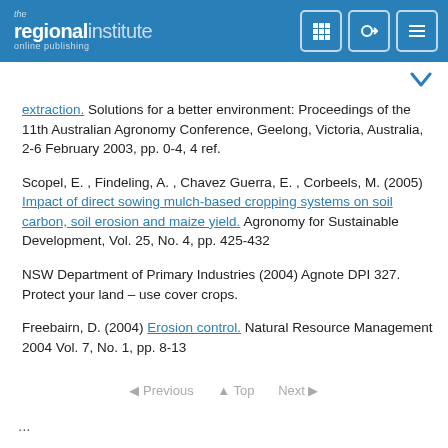the regional institute online publishing
extraction. Solutions for a better environment: Proceedings of the 11th Australian Agronomy Conference, Geelong, Victoria, Australia, 2-6 February 2003, pp. 0-4, 4 ref.
Scopel, E. , Findeling, A. , Chavez Guerra, E. , Corbeels, M. (2005) Impact of direct sowing mulch-based cropping systems on soil carbon, soil erosion and maize yield. Agronomy for Sustainable Development, Vol. 25, No. 4, pp. 425-432
NSW Department of Primary Industries (2004) Agnote DPI 327. Protect your land – use cover crops.
Freebairn, D. (2004) Erosion control. Natural Resource Management 2004 Vol. 7, No. 1, pp. 8-13
Previous   Top   Next